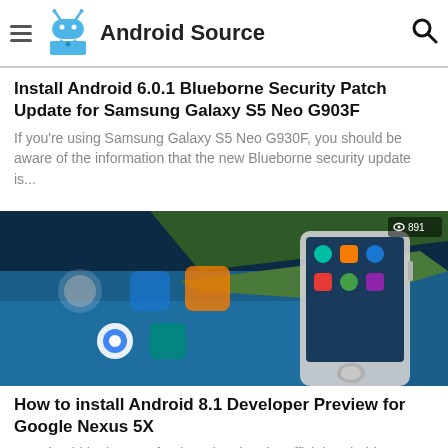Android Source
Install Android 6.0.1 Blueborne Security Patch Update for Samsung Galaxy S5 Neo G903F
If you're using Samsung Galaxy S5 Neo G930F, you should be aware of the information that the new Blueborne security update is...
[Figure (photo): Photo of an Android smartphone (Nexus 5X) lying on a surface, showing the home screen with app icons and a coastal aerial view as the wallpaper. View count badge shows 891.]
How to install Android 8.1 Developer Preview for Google Nexus 5X
You should be happy after knowing that the official Android 8.1 Developer Preview is available for all Nexus 5X devices...